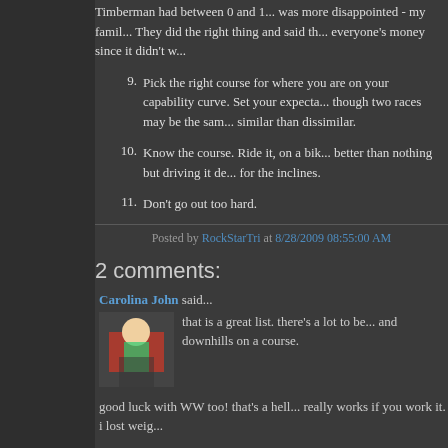Timberman had between 0 and 1... was more disappointed - my fami... They did the right thing and said th... everyone's money since it didn't w...
9. Pick the right course for where yo... capability curve. Set your expecta... though two races may be the sam... similar than dissimilar.
10. Know the course. Ride it, on a bik... better than nothing but driving it d... for the inclines.
11. Don't go out too hard.
Posted by RockStarTri at 8/28/2009 08:55:00 AM
2 comments:
Carolina John said...
that is a great list. there's a lot to be... and downhills on a course.
good luck with WW too! that's a hell... really works if you work it. i lost weig...